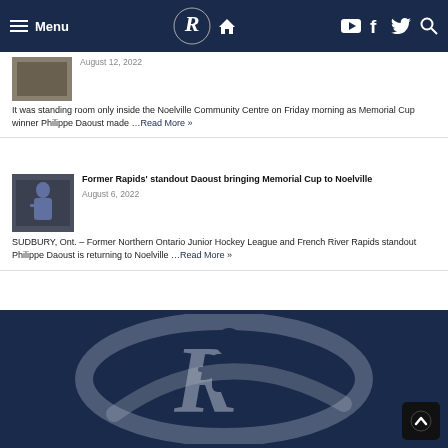Menu | French River Rapids logo | Home | YouTube | Facebook | Twitter | Search
August 12, 2022
It was standing room only inside the Noelville Community Centre on Friday morning as Memorial Cup winner Philippe Daoust made ...Read More »
Former Rapids' standout Daoust bringing Memorial Cup to Noelville
August 6, 2022
SUDBURY, Ont. – Former Northern Ontario Junior Hockey League and French River Rapids standout Philippe Daoust is returning to Noelville ...Read More »
[Figure (logo): French River Rapids hockey team logo on dark navy background — large stylized letter R with hockey player silhouette]